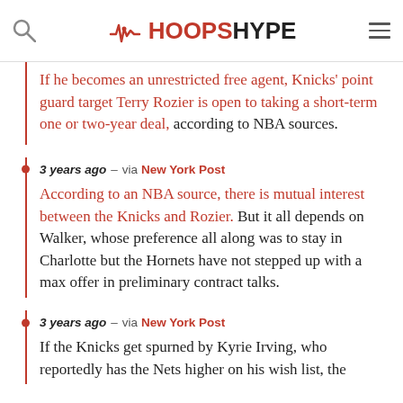HoopsHype
If he becomes an unrestricted free agent, Knicks' point guard target Terry Rozier is open to taking a short-term one or two-year deal, according to NBA sources.
3 years ago – via New York Post
According to an NBA source, there is mutual interest between the Knicks and Rozier. But it all depends on Walker, whose preference all along was to stay in Charlotte but the Hornets have not stepped up with a max offer in preliminary contract talks.
3 years ago – via New York Post
If the Knicks get spurned by Kyrie Irving, who reportedly has the Nets higher on his wish list, the